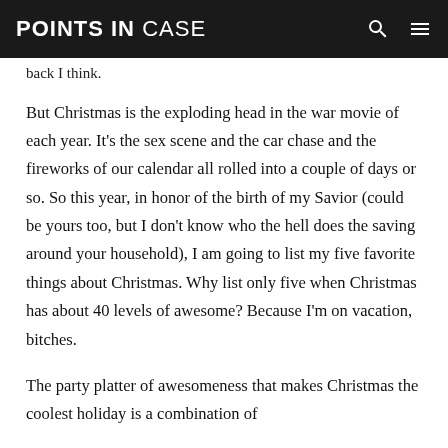POINTS IN CASE
back I think.
But Christmas is the exploding head in the war movie of each year. It’s the sex scene and the car chase and the fireworks of our calendar all rolled into a couple of days or so. So this year, in honor of the birth of my Savior (could be yours too, but I don’t know who the hell does the saving around your household), I am going to list my five favorite things about Christmas. Why list only five when Christmas has about 40 levels of awesome? Because I’m on vacation, bitches.
The party platter of awesomeness that makes Christmas the coolest holiday is a combination of